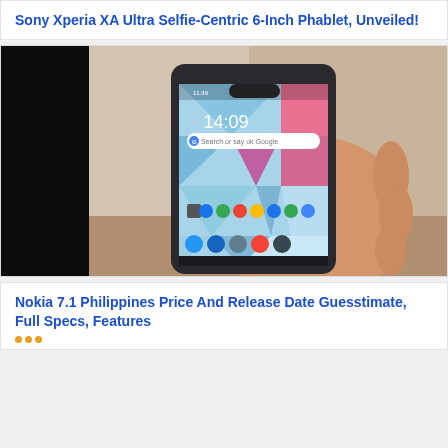Sony Xperia XA Ultra Selfie-Centric 6-Inch Phablet, Unveiled!
[Figure (photo): A hand holding a Nokia Android smartphone with a notch display showing time 14:09 and colorful low-poly geometric wallpaper, with Google search bar and app icons visible. Background shows a blurred indoor scene.]
Nokia 7.1 Philippines Price And Release Date Guesstimate, Full Specs, Features